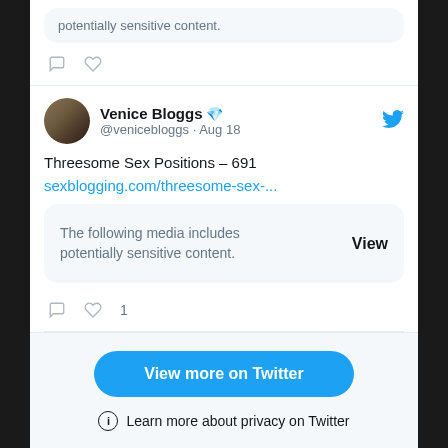potentially sensitive content.
[Figure (screenshot): Tweet by Venice Bloggs (@venicebloggs) dated Aug 18, with diamond emoji, Twitter bird icon, avatar photo. Tweet text: 'Threesome Sex Positions – 691 sexblogging.com/threesome-sex-...' with a sensitive media box saying 'The following media includes potentially sensitive content.' with a View button. 1 like shown.]
View more on Twitter
Learn more about privacy on Twitter